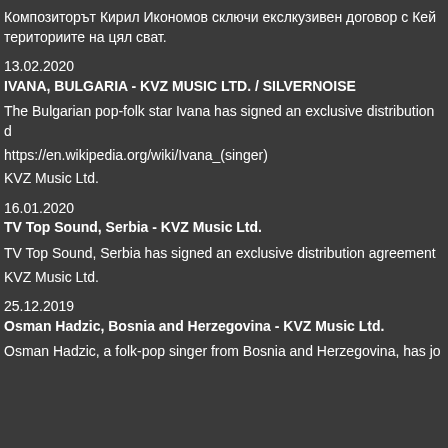Композиторът Кирил Икономов сключи екслкузивен договор с Кей териториите на цял сват.
13.02.2020
IVANA, BULGARIA - KVZ MUSIC LTD. / SILVERNOISE
The Bulgarian pop-folk star Ivana has signed an exclusive distribution d
https://en.wikipedia.org/wiki/Ivana_(singer)
KVZ Music Ltd.
16.01.2020
TV Top Sound, Serbia - KVZ Music Ltd.
TV Top Sound, Serbia has signed an exclusive distribution agreement
KVZ Music Ltd.
25.12.2019
Osman Hadzic, Bosnia and Herzegovina - KVZ Music Ltd.
Osman Hadzic, a folk-pop singer from Bosnia and Herzegovina, has jo